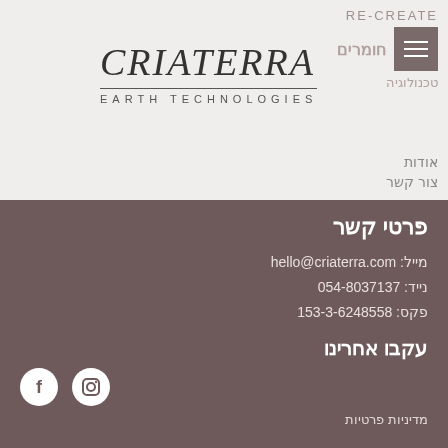[Figure (logo): CRIATERRA EARTH TECHNOLOGIES logo with stylized text and horizontal line]
RE-CREATE
חומרים
טכנולוגיה
אודות
צור קשר
פרטי קשר
מייל: hello@criaterra.com
נייד: 054-8037137
פקס: 153-3-6248558
עקבו אחרינו
[Figure (illustration): Instagram and Facebook social media icons in white circles]
מדיניות פרטיות